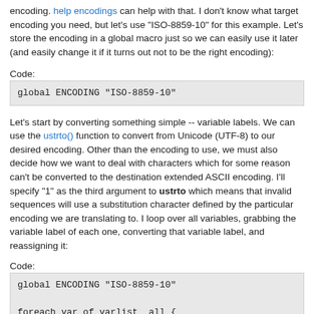encoding. help encodings can help with that. I don't know what target encoding you need, but let's use "ISO-8859-10" for this example. Let's store the encoding in a global macro just so we can easily use it later (and easily change it if it turns out not to be the right encoding):
Code:
global ENCODING "ISO-8859-10"
Let's start by converting something simple -- variable labels. We can use the ustrto() function to convert from Unicode (UTF-8) to our desired encoding. Other than the encoding to use, we must also decide how we want to deal with characters which for some reason can't be converted to the destination extended ASCII encoding. I'll specify "1" as the third argument to ustrto which means that invalid sequences will use a substitution character defined by the particular encoding we are translating to. I loop over all variables, grabbing the variable label of each one, converting that variable label, and reassigning it:
Code:
global ENCODING "ISO-8859-10"

foreach var of varlist _all {
    local thelab : variable label `var'
    local thelab = ustrto(`"`thelab'"', "$ENCODING", 1)
    label variable `var' `"`thelab'"'
}